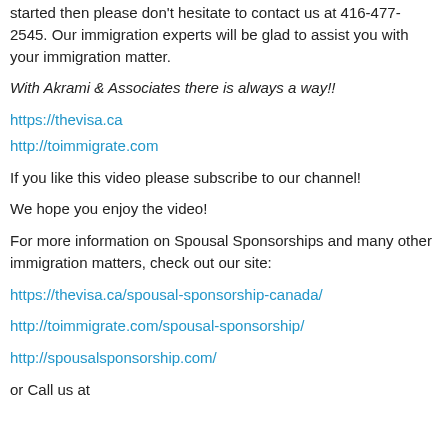started then please don't hesitate to contact us at 416-477-2545. Our immigration experts will be glad to assist you with your immigration matter.
With Akrami & Associates there is always a way!!
https://thevisa.ca
http://toimmigrate.com
If you like this video please subscribe to our channel!
We hope you enjoy the video!
For more information on Spousal Sponsorships and many other immigration matters, check out our site:
https://thevisa.ca/spousal-sponsorship-canada/
http://toimmigrate.com/spousal-sponsorship/
http://spousalsponsorship.com/
or Call us at